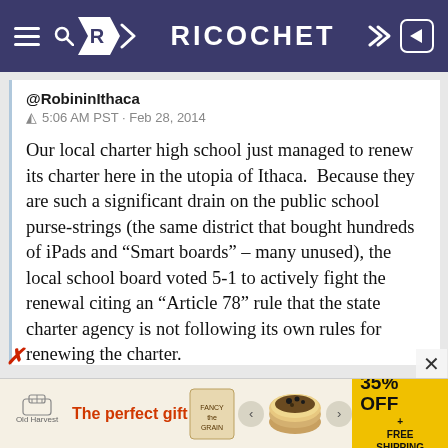RICOCHET
@RobininIthaca
5:06 AM PST · Feb 28, 2014
Our local charter high school just managed to renew its charter here in the utopia of Ithaca.  Because they are such a significant drain on the public school purse-strings (the same district that bought hundreds of iPads and “Smart boards” – many unused), the local school board voted 5-1 to actively fight the renewal citing an “Article 78” rule that the state charter agency is not following its own rules for renewing the charter.
The only vote against came from the lone black member of the board who stated that the point of charter schools is to operate independently of the
[Figure (screenshot): Advertisement banner for a food gift product with 35% off and free shipping offer]